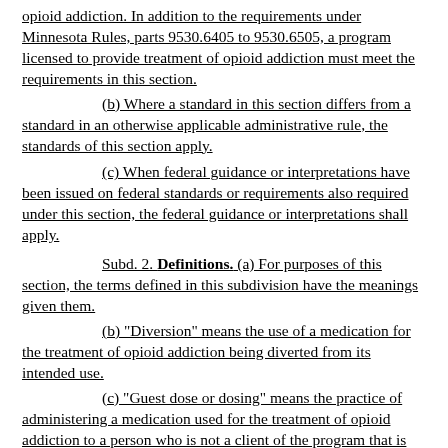opioid addiction. In addition to the requirements under Minnesota Rules, parts 9530.6405 to 9530.6505, a program licensed to provide treatment of opioid addiction must meet the requirements in this section.
(b) Where a standard in this section differs from a standard in an otherwise applicable administrative rule, the standards of this section apply.
(c) When federal guidance or interpretations have been issued on federal standards or requirements also required under this section, the federal guidance or interpretations shall apply.
Subd. 2. Definitions. (a) For purposes of this section, the terms defined in this subdivision have the meanings given them.
(b) "Diversion" means the use of a medication for the treatment of opioid addiction being diverted from its intended use.
(c) "Guest dose or dosing" means the practice of administering a medication used for the treatment of opioid addiction to a person who is not a client of the program that is